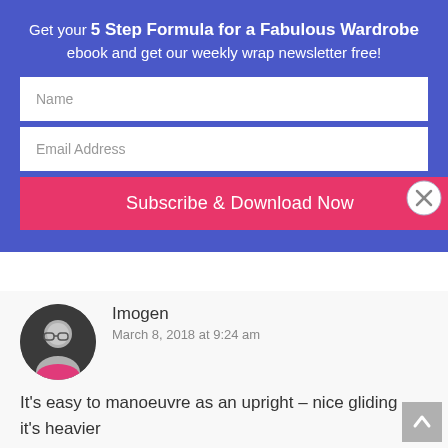Get your 5 Step Formula for a Fabulous Wardrobe ebook and get our weekly wrap newsletter free!
Name
Email Address
Subscribe & Download Now
What a well organised looking & welcoming home you've made.
Reply
Imogen
March 8, 2018 at 9:24 am
It's easy to manoeuvre as an upright – nice gliding – it's heavier